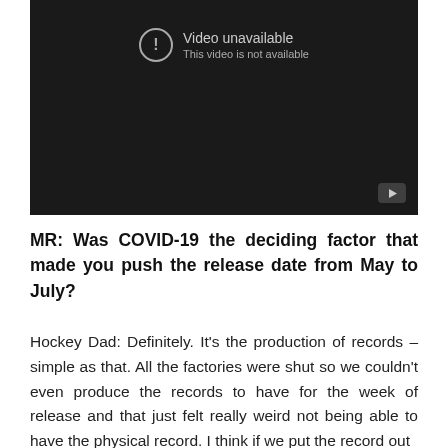[Figure (screenshot): YouTube video player showing 'Video unavailable - This video is not available' message on a dark background with YouTube logo in bottom right corner.]
MR: Was COVID-19 the deciding factor that made you push the release date from May to July?
Hockey Dad: Definitely. It's the production of records – simple as that. All the factories were shut so we couldn't even produce the records to have for the week of release and that just felt really weird not being able to have the physical record. I think if we put the record out